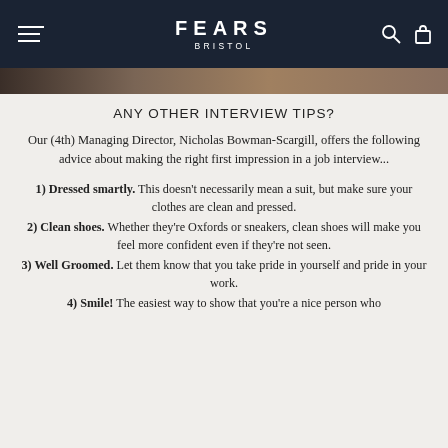FEARS BRISTOL
ANY OTHER INTERVIEW TIPS?
Our (4th) Managing Director, Nicholas Bowman-Scargill, offers the following advice about making the right first impression in a job interview...
1) Dressed smartly. This doesn't necessarily mean a suit, but make sure your clothes are clean and pressed.
2) Clean shoes. Whether they're Oxfords or sneakers, clean shoes will make you feel more confident even if they're not seen.
3) Well Groomed. Let them know that you take pride in yourself and pride in your work.
4) Smile! The easiest way to show that you're a nice person who...